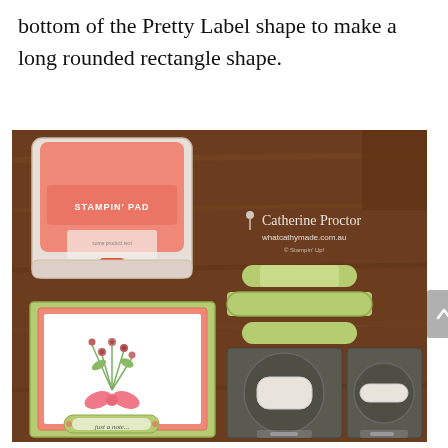bottom of the Pretty Label shape to make a long rounded rectangle shape.
[Figure (photo): Photograph showing crafting supplies on a wooden table: a salmon/coral Stampin' Pad ink pad (top left), green label die-cut pieces stacked (center top), a handmade greeting card with a flower bouquet and pink bow decorated with a green label tag reading 'just a note' (left), two dark gray embossing/die-cut tools with circular and label shapes (right center and far right). Watermark reads 'Catherine Proctor whatcathymade.com.au © Stampin Up'.]